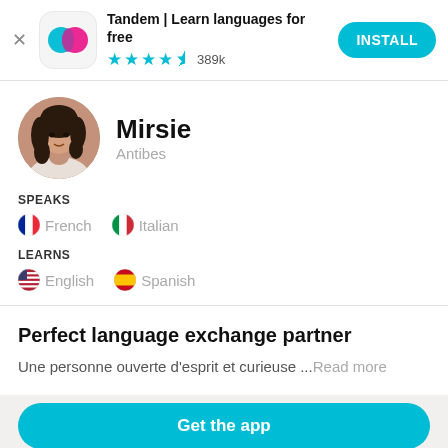[Figure (screenshot): Tandem app icon with overlapping teal and pink speech bubbles on white rounded square background]
Tandem | Learn languages for free
★★★★½ 389k
INSTALL
[Figure (photo): Circular profile photo of Mirsie, a young woman with long dark curly hair]
Mirsie
Antibes
SPEAKS
🇫🇷 French   🇮🇹 Italian
LEARNS
🇺🇸 English   🇪🇸 Spanish
Perfect language exchange partner
Une personne ouverte d'esprit et curieuse ...Read more
Get the app